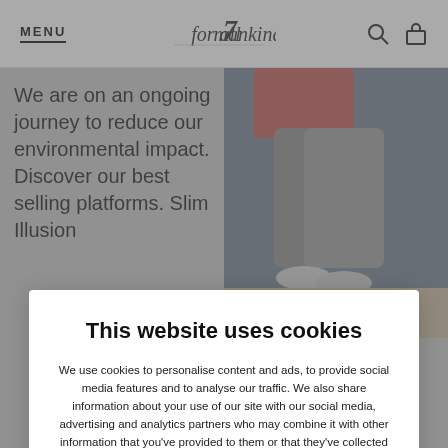MENU | for all 7 mankind [logo]
We are on an ongoing journey to reduce our environmental impact. Discover our best selling platforms. Slim Illusion
[Figure (photo): Person sitting, wearing jeans and grey socks, photographed from waist down]
This website uses cookies
We use cookies to personalise content and ads, to provide social media features and to analyse our traffic. We also share information about your use of our site with our social media, advertising and analytics partners who may combine it with other information that you've provided to them or that they've collected from your use of their services.
Allow all
Show details